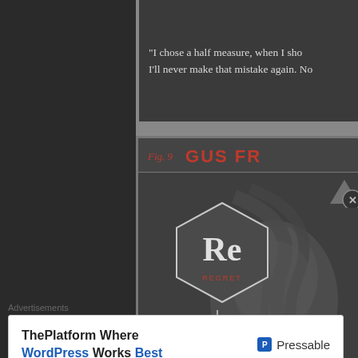[Figure (screenshot): Screenshot of a webpage showing two panels: a top dark panel with a partial quote, and a lower panel showing an infographic about a character named 'GUS FR...' (Gus Fring from Breaking Bad) with a periodic-table-style hexagonal element chart showing 'Re' (Regret) and 'Gr' below, with a stylized portrait in the background.]
"I chose a half measure, when I sho... I'll never make that mistake again. No...
Fig. 9   GUS FR...
Advertisements
ThePlatform Where WordPress Works Best   Pressable